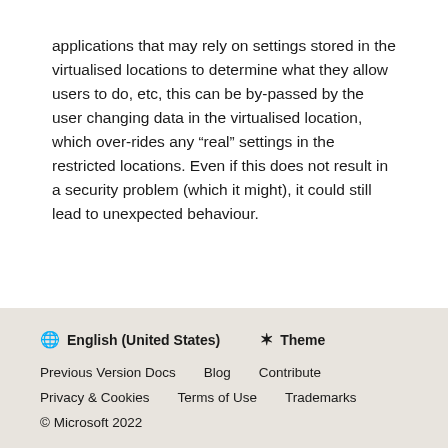applications that may rely on settings stored in the virtualised locations to determine what they allow users to do, etc, this can be by-passed by the user changing data in the virtualised location, which overrides any “real” settings in the restricted locations. Even if this does not result in a security problem (which it might), it could still lead to unexpected behaviour.
🌐 English (United States)  ✳ Theme
Previous Version Docs  Blog  Contribute
Privacy & Cookies  Terms of Use  Trademarks
© Microsoft 2022